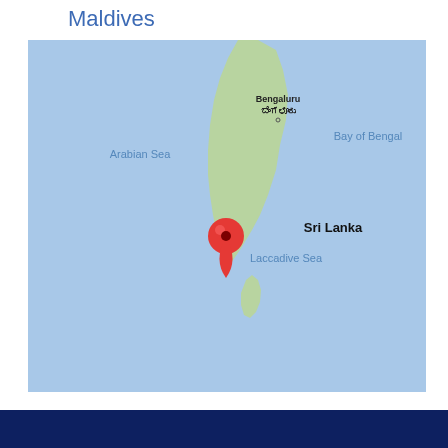Maldives
[Figure (map): Google Maps view centered on the Maldives region showing the Arabian Sea, Bay of Bengal, Laccadive Sea, Sri Lanka, and Bengaluru (ಬೆಂಗಳೂರು) with a red map pin marker indicating the location of the Maldives in the Indian Ocean.]